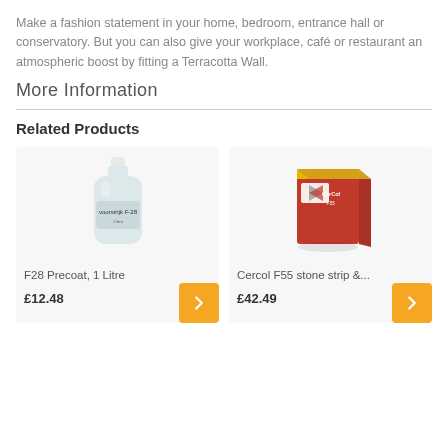Make a fashion statement in your home, bedroom, entrance hall or conservatory. But you can also give your workplace, café or restaurant an atmospheric boost by fitting a Terracotta Wall.
More Information
Related Products
[Figure (photo): F28 Precoat 1 Litre bottle product photo]
F28 Precoat, 1 Litre
£12.48
[Figure (photo): Cercol F55 stone strip product box photo]
Cercol F55 stone strip &...
£42.49